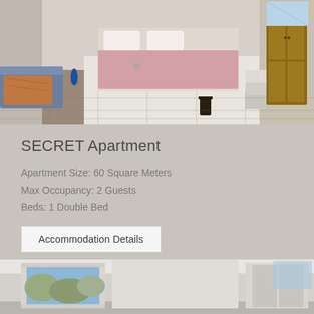[Figure (photo): Interior photo of a Mediterranean-style apartment bedroom with white walls, platform bed with pink bedding, blue sofa/daybed on left with patterned blanket, tiled floor, wooden armoire on right, lantern decoration.]
SECRET Apartment
Apartment Size: 60 Square Meters
Max Occupancy: 2 Guests
Beds: 1 Double Bed
Accommodation Details
[Figure (photo): Interior photo of an apartment room with sliding glass doors/windows showing an outdoor view with hills and blue sky, white walls, a mirror or wardrobe visible.]